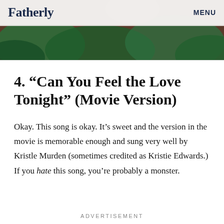Fatherly   MENU
[Figure (photo): Hero image with decorative background showing green foliage and warm tones, partially obscured by semi-transparent header bar]
4. “Can You Feel the Love Tonight” (Movie Version)
Okay. This song is okay. It’s sweet and the version in the movie is memorable enough and sung very well by Kristle Murden (sometimes credited as Kristie Edwards.) If you hate this song, you’re probably a monster.
ADVERTISEMENT